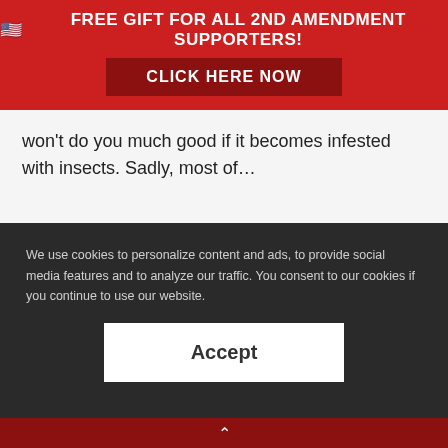🇺🇸 FREE GIFT FOR ALL 2ND AMENDMENT SUPPORTERS! CLICK HERE NOW
won't do you much good if it becomes infested with insects. Sadly, most of…
We use cookies to personalize content and ads, to provide social media features and to analyze our traffic. You consent to our cookies if you continue to use our website.
Accept